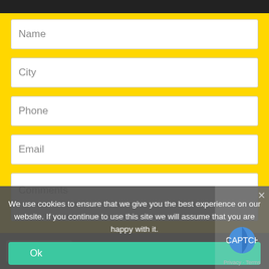Name
City
Phone
Email
Comments
We use cookies to ensure that we give you the best experience on our website. If you continue to use this site we will assume that you are happy with it.
Ok